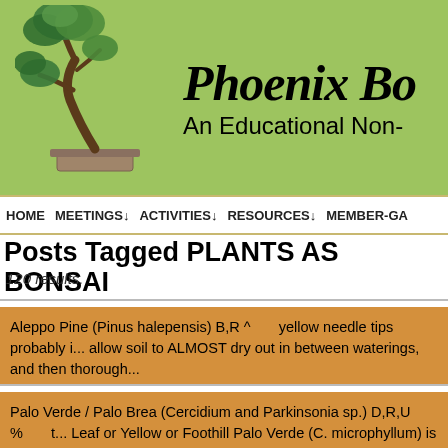[Figure (logo): Phoenix Bonsai Society logo: bonsai tree illustration on green background with italic bold title text 'Phoenix Bo...' and subtitle 'An Educational Non-']
HOME  MEETINGS↓  ACTIVITIES↓  RESOURCES↓  MEMBER-GA
Posts Tagged PLANTS AS BONSAI
120 results.
Aleppo Pine (Pinus halepensis) B,R ^      yellow needle tips probably i... allow soil to ALMOST dry out in between waterings, and then thorough...
↓ Read the rest of this entry…
Palo Verde / Palo Brea (Cercidium and Parkinsonia sp.) D,R,U %      t... Leaf or Yellow or Foothill Palo Verde (C. microphyllum) is slow growing...
↓ Read the rest of this entry…